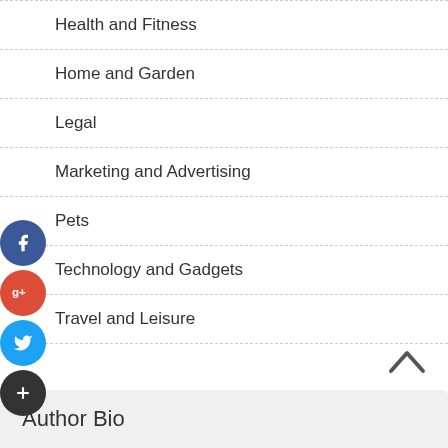Health and Fitness
Home and Garden
Legal
Marketing and Advertising
Pets
Technology and Gadgets
Travel and Leisure
Author Bio